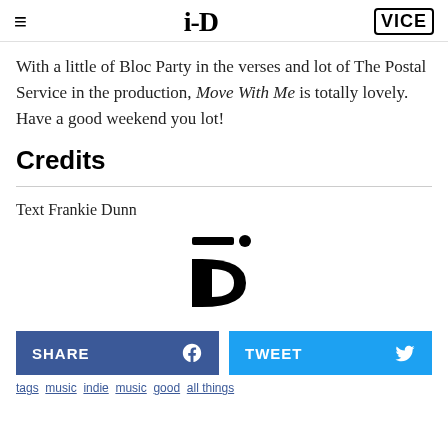i-D | VICE
With a little of Bloc Party in the verses and lot of The Postal Service in the production, Move With Me is totally lovely. Have a good weekend you lot!
Credits
Text Frankie Dunn
[Figure (logo): i-D magazine logo icon centered on page]
SHARE | TWEET